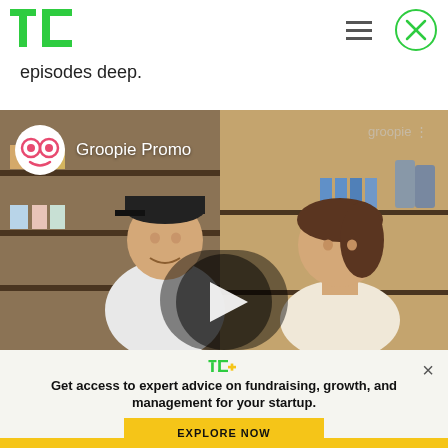TechCrunch logo, hamburger menu, close button
episodes deep.
[Figure (screenshot): Groopie Promo video thumbnail showing two people in a store with shelves of products. Groopie logo and 'Groopie Promo' text overlay in top-left. 'groopie' watermark in top-right. Play button in center.]
[Figure (logo): TC+ logo in green and yellow]
Get access to expert advice on fundraising, growth, and management for your startup.
EXPLORE NOW